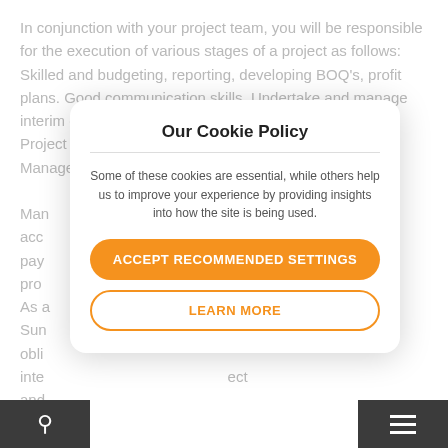In conjunction with your project team, you will be responsible for the execution of various stages of a project as follows: Skilled and budgeting, reporting, developing BOQ's, profit plans. Good communication skills. Undertake and manage interim commercial meetings with the Client and Internal Project Team. Report in detail as required for the Project Manager on the commercial status of the project.
Man... acc... pay... pro... As a... Sun... obli... inte... ect and...
Our Cookie Policy
Some of these cookies are essential, while others help us to improve your experience by providing insights into how the site is being used.
ACCEPT RECOMMENDED SETTINGS
LEARN MORE